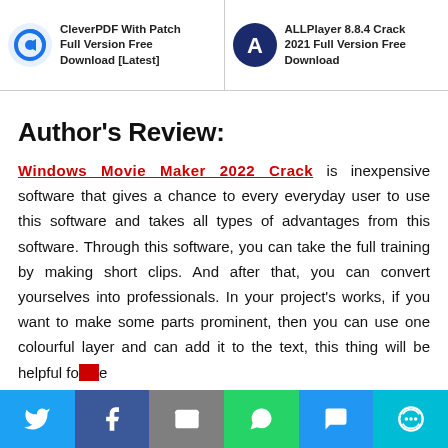CleverPDF With Patch Full Version Free Download [Latest] | ALLPlayer 8.8.4 Crack 2021 Full Version Free Download
Author's Review:
Windows Movie Maker 2022 Crack is inexpensive software that gives a chance to every everyday user to use this software and takes all types of advantages from this software. Through this software, you can take the full training by making short clips. And after that, you can convert yourselves into professionals. In your project's works, if you want to make some parts prominent, then you can use one colourful layer and can add it to the text, this thing will be helpful for e